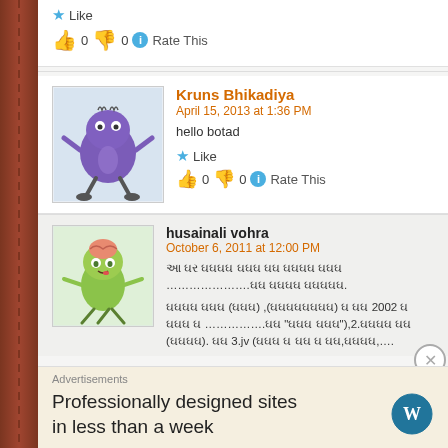★ Like
👍 0 👎 0 ℹ Rate This
Kruns Bhikadiya
April 15, 2013 at 1:36 PM
hello botad
★ Like
👍 0 👎 0 ℹ Rate This
husainali vohra
October 6, 2011 at 12:00 PM
Advertisements
Professionally designed sites in less than a week